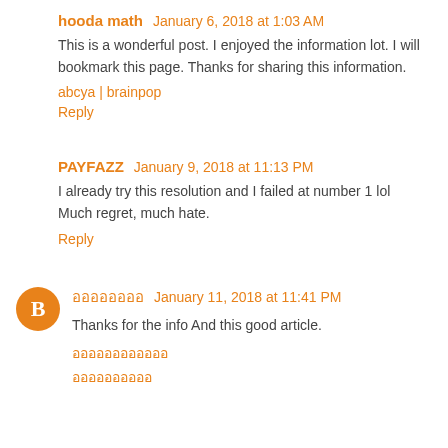hooda math  January 6, 2018 at 1:03 AM
This is a wonderful post. I enjoyed the information lot. I will bookmark this page. Thanks for sharing this information.
abcya | brainpop
Reply
PAYFAZZ  January 9, 2018 at 11:13 PM
I already try this resolution and I failed at number 1 lol Much regret, much hate.
Reply
ออออออออ  January 11, 2018 at 11:41 PM
Thanks for the info And this good article.
ออออออออออออ
ออออออออออ